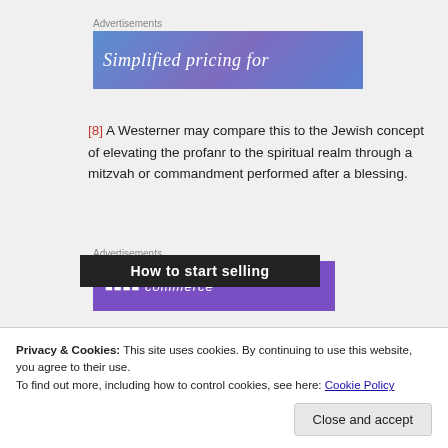Advertisements
[Figure (screenshot): Advertisement banner with blue-purple gradient background and italic white serif text reading 'Simplified pricing for']
[8] A Westerner may compare this to the Jewish concept of elevating the profanr to the spiritual realm through a mitzvah or commandment performed after a blessing.
Advertisements
[Figure (screenshot): Advertisement banner with purple background]
Privacy & Cookies: This site uses cookies. By continuing to use this website, you agree to their use.
To find out more, including how to control cookies, see here: Cookie Policy
Close and accept
How to start selling